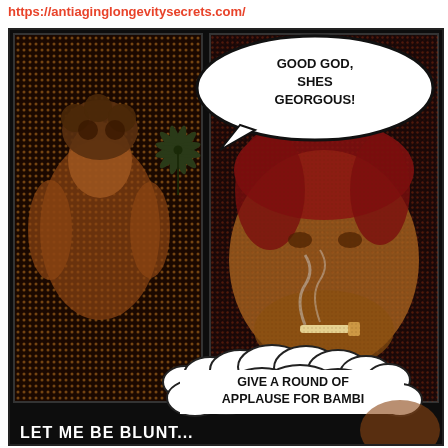https://antiaginglongevitysecrets.com/
[Figure (illustration): Comic book style panel illustration. Left panel shows a muscular female figure with curly hair and a cannabis leaf in the foreground, rendered in orange/brown halftone. Right panel shows a man with red hair smoking a blunt, rendered in orange/red halftone on dark background. A speech bubble at top right reads 'GOOD GOD, SHES GEORGOUS!' A thought/smoke bubble in the lower center reads 'GIVE A ROUND OF APPLAUSE FOR BAMBI'. Partially visible text at the bottom reads 'LET ME BE BLUNT'.]